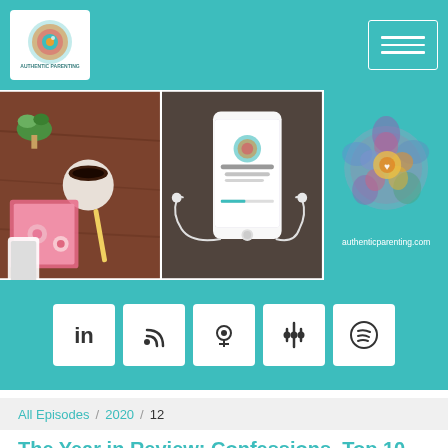Authentic Parenting
[Figure (photo): Three-panel banner: left panel shows a flat lay with coffee, phone, notebook and flowers on a wooden table; center panel shows a smartphone with earbuds displaying the Authentic Parenting podcast app; right panel shows a watercolor rose illustration with text authenticparenting.com]
[Figure (infographic): Teal social media bar with five white icon buttons: LinkedIn, RSS feed, Apple Podcasts, Google Podcasts, Spotify]
All Episodes / 2020 / 12
The Year in Review: Confessions, Top 10 Episodes and What's Coming
AUTHENTIC PARENTING
The Year in Review: Confessions, Top 10 Episo...